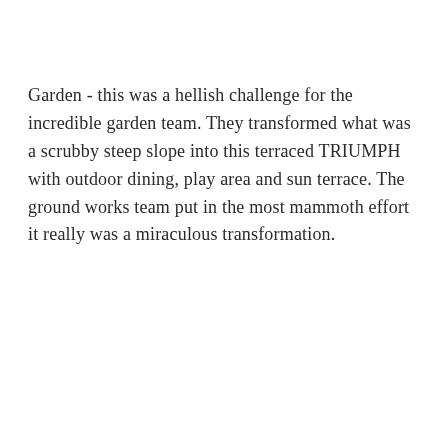Garden - this was a hellish challenge for the incredible garden team. They transformed what was a scrubby steep slope into this terraced TRIUMPH with outdoor dining, play area and sun terrace. The ground works team put in the most mammoth effort it really was a miraculous transformation.